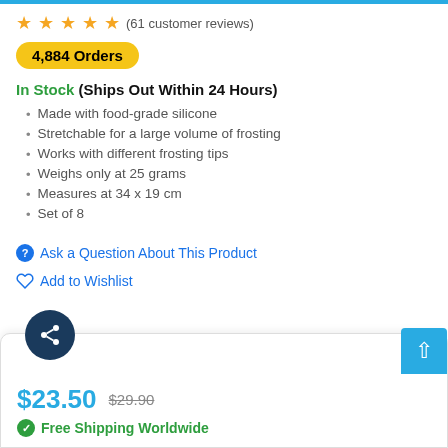★★★★★ (61 customer reviews)
4,884 Orders
In Stock (Ships Out Within 24 Hours)
Made with food-grade silicone
Stretchable for a large volume of frosting
Works with different frosting tips
Weighs only at 25 grams
Measures at 34 x 19 cm
Set of 8
Ask a Question About This Product
Add to Wishlist
$23.50  $29.90  Free Shipping Worldwide